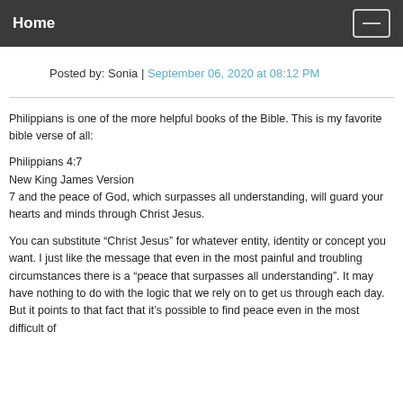Home
Posted by: Sonia | September 06, 2020 at 08:12 PM
Philippians is one of the more helpful books of the Bible. This is my favorite bible verse of all:
Philippians 4:7
New King James Version
7 and the peace of God, which surpasses all understanding, will guard your hearts and minds through Christ Jesus.
You can substitute “Christ Jesus” for whatever entity, identity or concept you want. I just like the message that even in the most painful and troubling circumstances there is a “peace that surpasses all understanding”. It may have nothing to do with the logic that we rely on to get us through each day. But it points to that fact that it’s possible to find peace even in the most difficult of